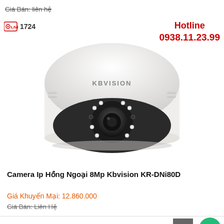Giá Bán: liên hệ (strikethrough)
[Figure (photo): KBVISION dome IP camera with infrared LEDs, white housing and dark dome lens]
Hotline 0938.11.23.99
1724 (live viewer count)
Camera Ip Hồng Ngoại 8Mp Kbvision KR-DNi80D
Giá Khuyến Mại: 12.860.000
Giá Bán: Liên Hệ (strikethrough)
1510 (live viewer count)